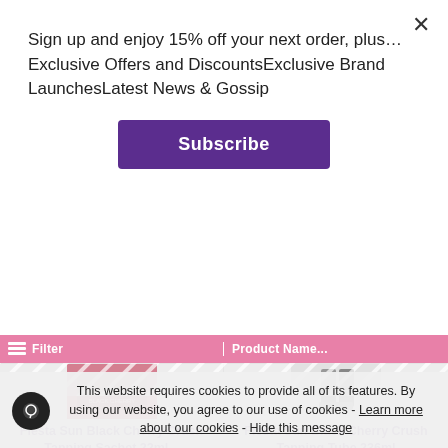Sign up and enjoy 15% off your next order, plus…Exclusive Offers and DiscountsExclusive Brand LaunchesLatest News & Gossip
Subscribe
[Figure (screenshot): Pink filter bar with grid icon and Filter / Product Name labels]
[Figure (photo): Fiesta Sun Black Cherry Crush Tanning Sachet product image]
Fiesta Sun Black Cherry Crush Tanning Sachet 22ml…
CLICK HERE TO VIEW OFFER
£1.20 ex VAT
[Figure (photo): Fiesta Sun Black Cherry Crush Tanning Tube product image]
Fiesta Sun Black Cherry Crush Tanning Tube 236ml
CLICK HERE TO VIEW OFFER
£8.50 ex VAT
This website requires cookies to provide all of its features. By using our website, you agree to our use of cookies - Learn more about our cookies - Hide this message